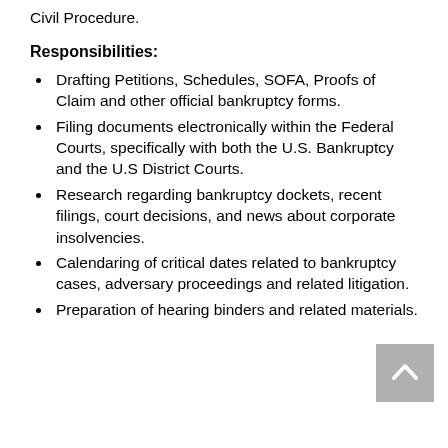Civil Procedure.
Responsibilities:
Drafting Petitions, Schedules, SOFA, Proofs of Claim and other official bankruptcy forms.
Filing documents electronically within the Federal Courts, specifically with both the U.S. Bankruptcy and the U.S District Courts.
Research regarding bankruptcy dockets, recent filings, court decisions, and news about corporate insolvencies.
Calendaring of critical dates related to bankruptcy cases, adversary proceedings and related litigation.
Preparation of hearing binders and related materials.